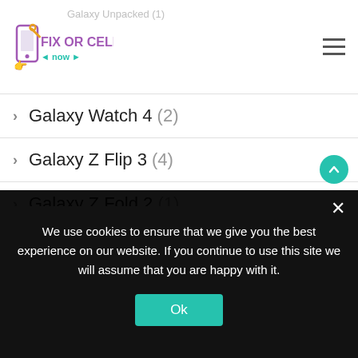Fix or Cell Now - logo and navigation
Galaxy Unpacked (1)
Galaxy Watch 4 (2)
Galaxy Z Flip 3 (4)
Galaxy Z Fold 2 (1)
Galaxy Z Fold 3 (9)
Gaming (20)
Gaming Laptop (1)
Gaming Mouse (1)
We use cookies to ensure that we give you the best experience on our website. If you continue to use this site we will assume that you are happy with it.